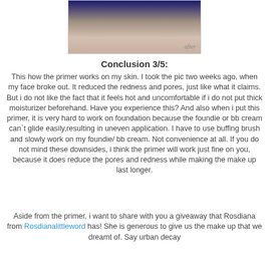[Figure (photo): Close-up photo of a person's lower face/chin area with 'after' label, blue background at top]
Conclusion 3/5:
This how the primer works on my skin. I took the pic two weeks ago, when my face broke out. It reduced the redness and pores, just like what it claims. But i do not like the fact that it feels hot and uncomfortable if i do not put thick moisturizer beforehand. Have you experience this? And also when i put this primer, it is very hard to work on foundation because the foundie or bb cream can`t glide easily,resulting in uneven application. I have to use buffing brush and slowly work on my foundie/ bb cream. Not convenience at all. If you do not mind these downsides, i think the primer will work just fine on you, because it does reduce the pores and redness while making the make up last longer.
Aside from the primer, i want to share with you a giveaway that Rosdiana from Rosdianalittleword has! She is generous to give us the make up that we dreamt of. Say urban decay